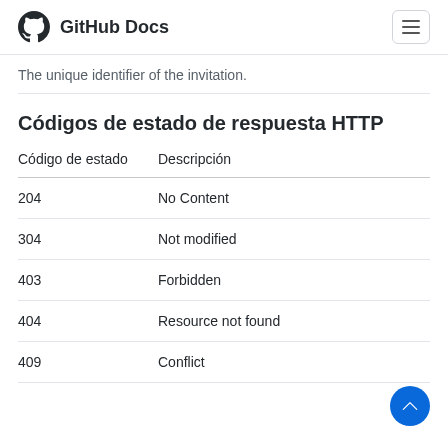GitHub Docs
The unique identifier of the invitation.
Códigos de estado de respuesta HTTP
| Código de estado | Descripción |
| --- | --- |
| 204 | No Content |
| 304 | Not modified |
| 403 | Forbidden |
| 404 | Resource not found |
| 409 | Conflict |